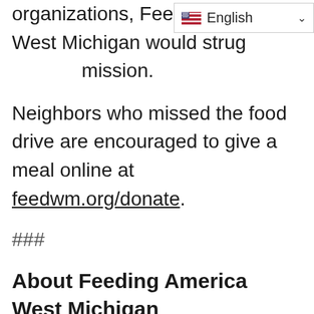organizations, Feeding America West Michigan would struggle to fulfill its mission.
Neighbors who missed the food drive are encouraged to give a meal online at feedwm.org/donate.
###
About Feeding America West Michigan
Serving local families in need since 1981, Feeding America West Michigan reclaims safe surplus food from farmers, manufacturers, distributors and retailers. That food is distributed through a network of 900 food pantries, soup kitchens, shelter...